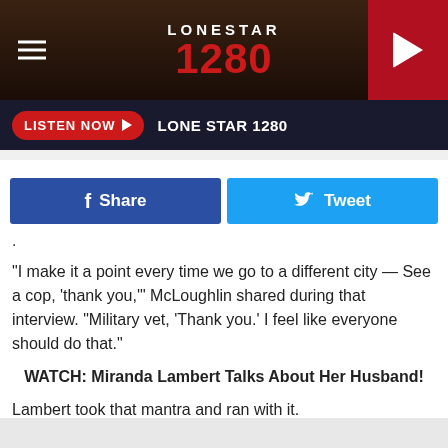LONE STAR 1280 — header with logo and hamburger menu
LISTEN NOW ▶  LONE STAR 1280
[Figure (screenshot): Facebook Share button and Twitter Tweet button]
.
"I make it a point every time we go to a different city — See a cop, 'thank you,'" McLoughlin shared during that interview. "Military vet, 'Thank you.' I feel like everyone should do that."
WATCH: Miranda Lambert Talks About Her Husband!
Lambert took that mantra and ran with it.
Radio listeners in each city she visits can contact